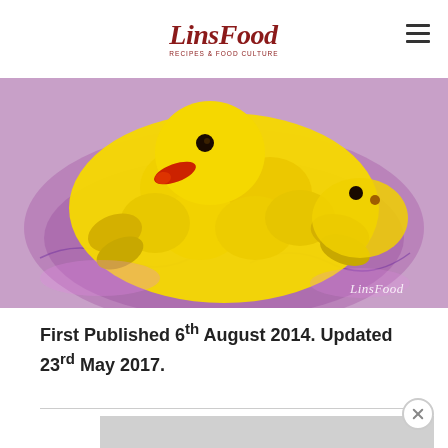LinsFood - Recipes & Food Culture
[Figure (photo): Close-up photo of a duck-shaped food sculpture made from yellow fruit/food pieces arranged on a purple decorative glass plate, with a red chili beak and dark eyes. The watermark 'LinsFood' appears in the bottom right corner.]
First Published 6th August 2014. Updated 23rd May 2017.
MY LATEST VIDEOS